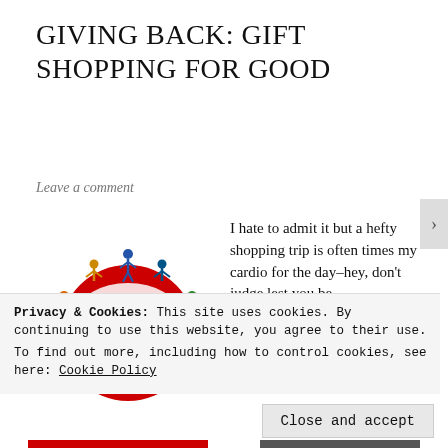GIVING BACK: GIFT SHOPPING FOR GOOD
Leave a comment
[Figure (illustration): Globe illustration with diverse group of people holding hands around a red world map globe, representing global community and charitable giving.]
I hate to admit it but a hefty shopping trip is often times my cardio for the day–hey, don't judge lest you be
Privacy & Cookies: This site uses cookies. By continuing to use this website, you agree to their use.
To find out more, including how to control cookies, see here: Cookie Policy
Close and accept